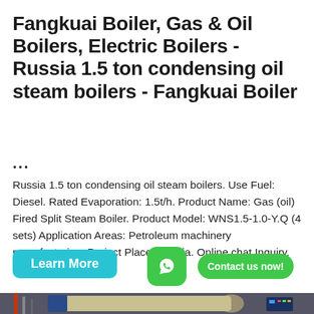Fangkuai Boiler, Gas & Oil Boilers, Electric Boilers - Russia 1.5 ton condensing oil steam boilers - Fangkuai Boiler
...
Russia 1.5 ton condensing oil steam boilers. Use Fuel: Diesel. Rated Evaporation: 1.5t/h. Product Name: Gas (oil) Fired Split Steam Boiler. Product Model: WNS1.5-1.0-Y.Q (4 sets) Application Areas: Petroleum machinery manufacturing. Project Place: Russia. Online chat Inquiry.
[Figure (photo): Industrial boiler equipment in a factory setting. A large horizontal cylindrical boiler body (tan/beige color) with a blue front panel/burner assembly and control panel on the right side. Pipes and connections visible on the left. Factory interior with steel structure visible in background.]